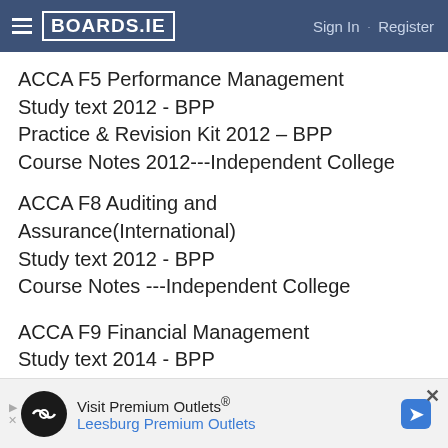BOARDS.IE  Sign In · Register
ACCA F5 Performance Management
Study text 2012 - BPP
Practice & Revision Kit 2012 – BPP
Course Notes 2012---Independent College
ACCA F8 Auditing and Assurance(International)
Study text 2012 - BPP
Course Notes ---Independent College
ACCA F9 Financial Management
Study text 2014 - BPP
Practice & Revision Kit 2014 – BPP
Course Notes 2013---Independent College
[Figure (other): Advertisement banner for Visit Premium Outlets® – Leesburg Premium Outlets with logo and navigation icon]